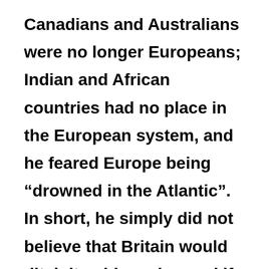Canadians and Australians were no longer Europeans; Indian and African countries had no place in the European system, and he feared Europe being “drowned in the Atlantic”. In short, he simply did not believe that Britain would ditch its old empire; and if it did, he thought it would be a Trojan horse for the Americans.